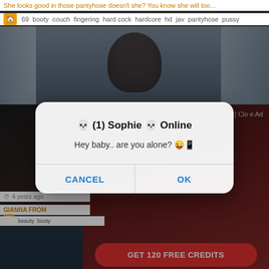She looks good in those pantyhose doesn't she? You know she will too...
69 booty couch fingering hard cock hardcore hd jav pantyhose pussy
[Figure (screenshot): Video thumbnail showing person in front of curtain background]
[Figure (screenshot): Dialog box popup: title '(1) Sophie Online', message 'Hey baby.. are you alone?', buttons CANCEL and OK]
[Figure (screenshot): Advertisement showing woman in red lingerie with GET 120 FREE CREDITS button]
4 years ago
GIANNA FROM
beauty booty